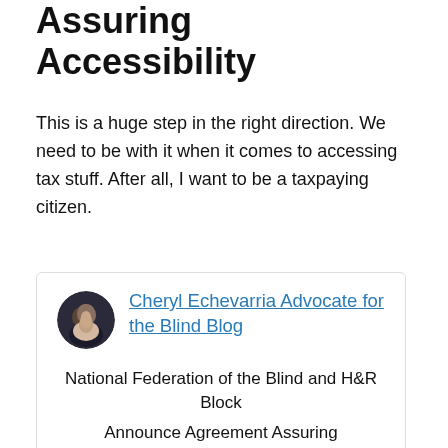Assuring Accessibility
This is a huge step in the right direction. We need to be with it when it comes to accessing tax stuff. After all, I want to be a taxpaying citizen.
[Figure (photo): Circular avatar photo of a person (Cheryl Echevarria)]
Cheryl Echevarria Advocate for the Blind Blog
National Federation of the Blind and H&R Block
Announce Agreement Assuring